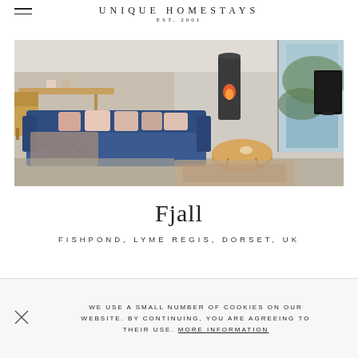UNIQUE HOMESTAYS EST. 2001
[Figure (photo): Interior living room photo showing a blue sofa with pink cushions, wooden dining table and chair, fireplace, coffee table, rug, and large windows with forest view]
Fjall
FISHPOND, LYME REGIS, DORSET, UK
WE USE A SMALL NUMBER OF COOKIES ON OUR WEBSITE. BY CONTINUING, YOU ARE AGREEING TO THEIR USE. MORE INFORMATION